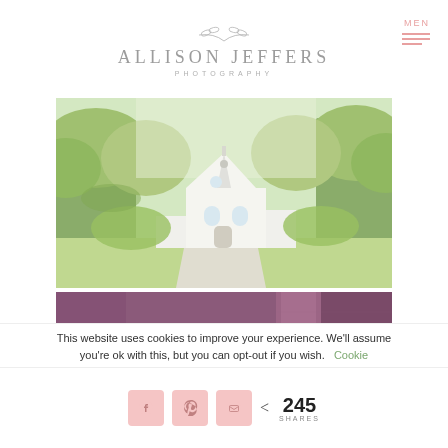[Figure (logo): Allison Jeffers Photography logo with leaf/branch illustration above the text name and 'PHOTOGRAPHY' subtitle, plus MEN hamburger menu icon top right]
[Figure (photo): Outdoor photograph of a white chapel or small church building with large oak trees, green lawn, bright sunny day]
[Figure (photo): Close-up photograph of purple/plum fabric or linen texture with lighter stripe, wedding invitation cards visible at bottom]
This website uses cookies to improve your experience. We'll assume you're ok with this, but you can opt-out if you wish. Cookie
245 SHARES